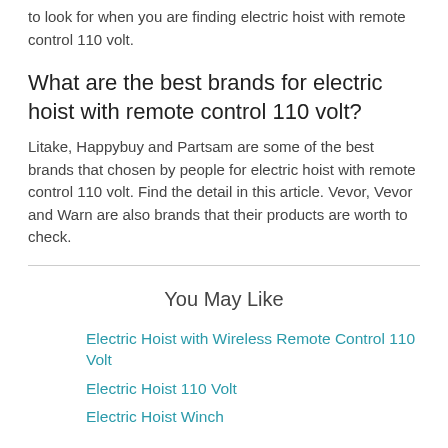to look for when you are finding electric hoist with remote control 110 volt.
What are the best brands for electric hoist with remote control 110 volt?
Litake, Happybuy and Partsam are some of the best brands that chosen by people for electric hoist with remote control 110 volt. Find the detail in this article. Vevor, Vevor and Warn are also brands that their products are worth to check.
You May Like
Electric Hoist with Wireless Remote Control 110 Volt
Electric Hoist 110 Volt
Electric Hoist Winch